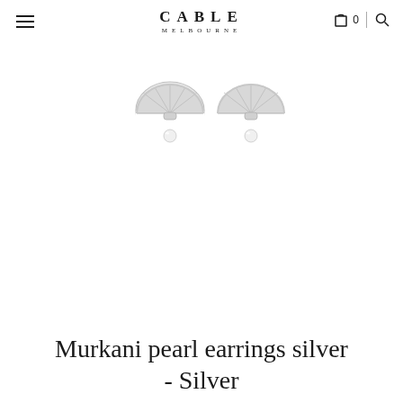CABLE MELBOURNE
[Figure (photo): Two silver Murkani pearl earrings photographed from above on a white background. Each earring has a semi-circular silver fan/shell shape at the top with a small pearl drop hanging below.]
Murkani pearl earrings silver - Silver